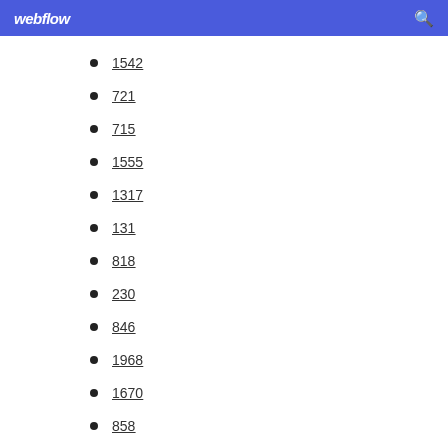webflow
1542
721
715
1555
1317
131
818
230
846
1968
1670
858